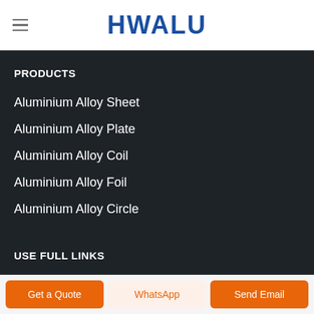HWALU
PRODUCTS
Aluminium Alloy Sheet
Aluminium Alloy Plate
Aluminium Alloy Coil
Aluminium Alloy Foil
Aluminium Alloy Circle
USE FULL LINKS
Get a Quote | WhatsApp | Send Email